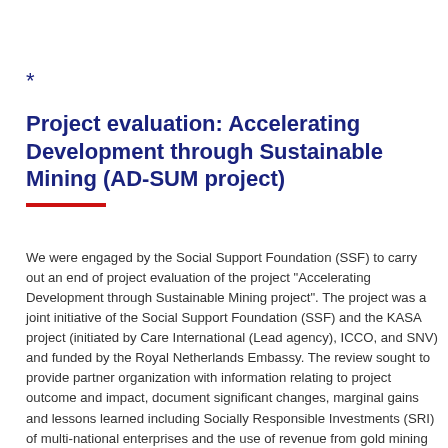*
Project evaluation: Accelerating Development through Sustainable Mining (AD-SUM project)
We were engaged by the Social Support Foundation (SSF) to carry out an end of project evaluation of the project “Accelerating Development through Sustainable Mining project”. The project was a joint initiative of the Social Support Foundation (SSF) and the KASA project (initiated by Care International (Lead agency), ICCO, and SNV) and funded by the Royal Netherlands Embassy. The review sought to provide partner organization with information relating to project outcome and impact, document significant changes, marginal gains and lessons learned including Socially Responsible Investments (SRI) of multi-national enterprises and the use of revenue from gold mining within and around Obuasi in the Ashanti region. The final report was